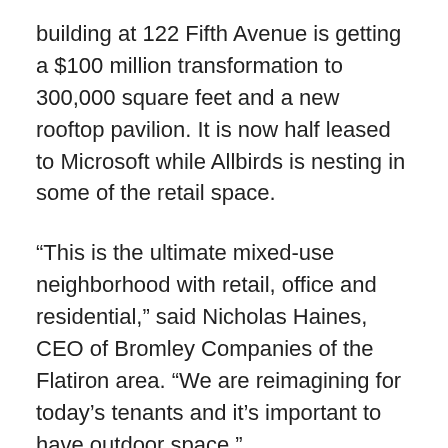building at 122 Fifth Avenue is getting a $100 million transformation to 300,000 square feet and a new rooftop pavilion. It is now half leased to Microsoft while Allbirds is nesting in some of the retail space.
“This is the ultimate mixed-use neighborhood with retail, office and residential,” said Nicholas Haines, CEO of Bromley Companies of the Flatiron area. “We are reimagining for today’s tenants and it’s important to have outdoor space.”
In Nomad, the vacant 700,000-square-foot former textile building at 295 Fifth Ave. is undergoing a $350 million transformation by owners Tribeca Investment Group, PGIM Real Estate, and Meadow Partners with leasing through CBRE.